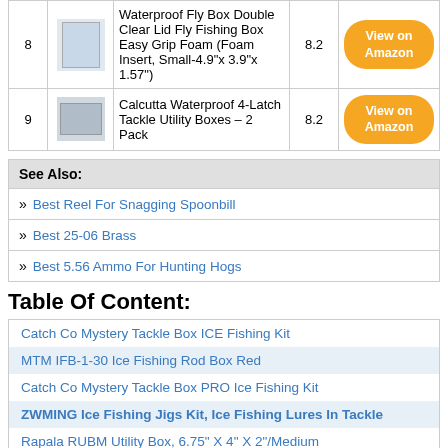| # | Image | Product | Score | Link |
| --- | --- | --- | --- | --- |
| 8 | [img] | Waterproof Fly Box Double Clear Lid Fly Fishing Box Easy Grip Foam (Foam Insert, Small-4.9"x 3.9"x 1.57") | 8.2 | View on Amazon |
| 9 | [img] | Calcutta Waterproof 4-Latch Tackle Utility Boxes – 2 Pack | 8.2 | View on Amazon |
See Also:
Best Reel For Snagging Spoonbill
Best 25-06 Brass
Best 5.56 Ammo For Hunting Hogs
Table Of Content:
Catch Co Mystery Tackle Box ICE Fishing Kit
MTM IFB-1-30 Ice Fishing Rod Box Red
Catch Co Mystery Tackle Box PRO Ice Fishing Kit
ZWMING Ice Fishing Jigs Kit, Ice Fishing Lures In Tackle
Rapala RUBM Utility Box, 6.75" X 4" X 2"/Medium